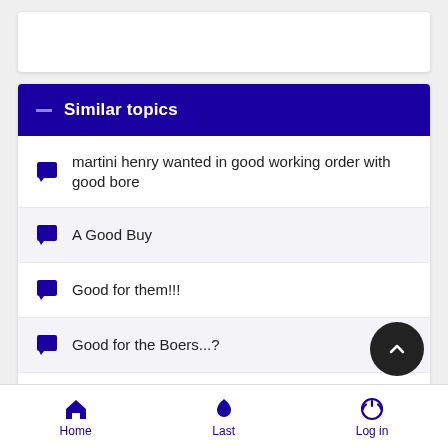Similar topics
martini henry wanted in good working order with good bore
A Good Buy
Good for them!!!
Good for the Boers...?
A Good Day for enthusiasts.
Home  Last  Log in